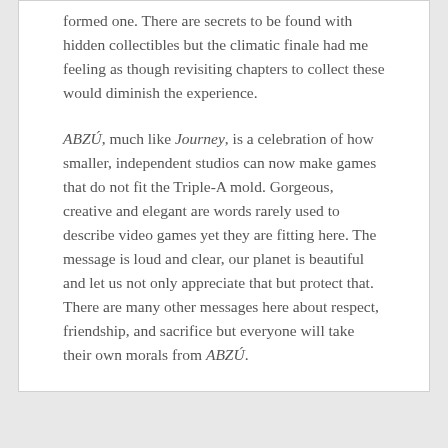formed one. There are secrets to be found with hidden collectibles but the climatic finale had me feeling as though revisiting chapters to collect these would diminish the experience.
ABZÚ, much like Journey, is a celebration of how smaller, independent studios can now make games that do not fit the Triple-A mold. Gorgeous, creative and elegant are words rarely used to describe video games yet they are fitting here. The message is loud and clear, our planet is beautiful and let us not only appreciate that but protect that. There are many other messages here about respect, friendship, and sacrifice but everyone will take their own morals from ABZÚ.